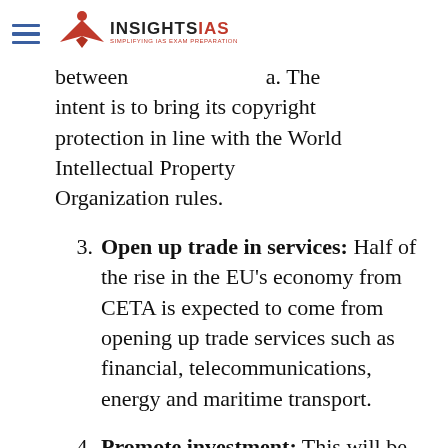[Figure (logo): INSIGHTS IAS logo with red open book icon and tagline 'Simplifying IAS Exam Preparation']
between India. The intent is to bring its copyright protection in line with the World Intellectual Property Organization rules.
3. Open up trade in services: Half of the rise in the EU's economy from CETA is expected to come from opening up trade services such as financial, telecommunications, energy and maritime transport.
4. Promote investment: This will be done by removing barriers,